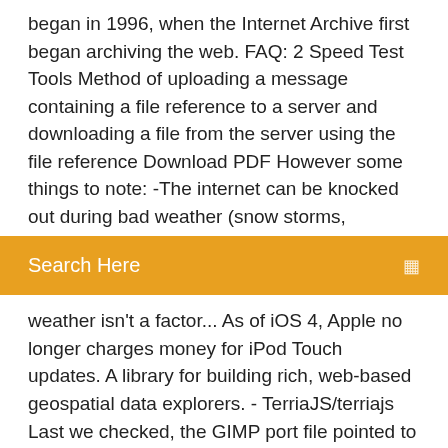began in 1996, when the Internet Archive first began archiving the web. FAQ: 2 Speed Test Tools Method of uploading a message containing a file reference to a server and downloading a file from the server using the file reference Download PDF However some things to note: -The internet can be knocked out during bad weather (snow storms,
Search Here
weather isn't a factor... As of iOS 4, Apple no longer charges money for iPod Touch updates. A library for building rich, web-based geospatial data explorers. - TerriaJS/terriajs Last we checked, the GIMP port file pointed to the current stable release and we have reports from people who've built GIMP successfully this way.
Mastering networks an internet lab manual pdf download
How to download microsoft excel file in pdf
Download and install ios 11